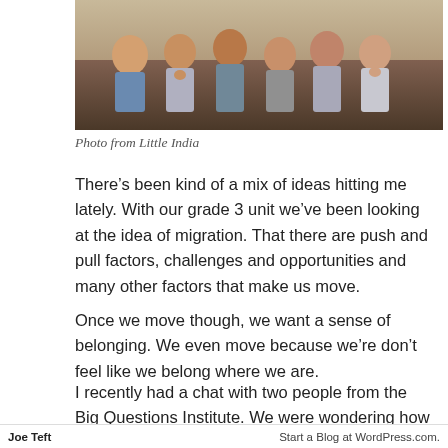[Figure (photo): Group of several men smiling and posing together, photo from Little India]
Photo from Little India
There’s been kind of a mix of ideas hitting me lately. With our grade 3 unit we’ve been looking at the idea of migration. That there are push and pull factors, challenges and opportunities and many other factors that make us move.
Once we move though, we want a sense of belonging. We even move because we’re don’t feel like we belong where we are.
I recently had a chat with two people from the Big Questions Institute. We were wondering how to develop this sense of belonging in our new teachers. I think we’re thinking about bringing small groups of people with similar interests, creating
Joe Teft                                                    Start a Blog at WordPress.com.